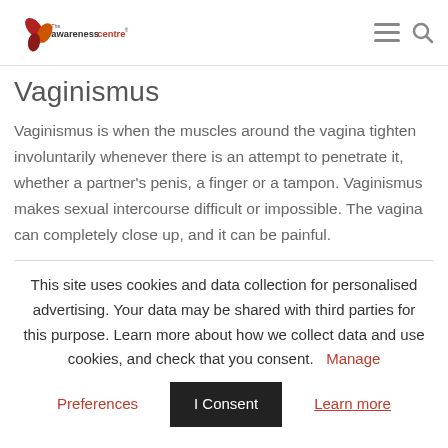The Awareness Centre
Vaginismus
Vaginismus is when the muscles around the vagina tighten involuntarily whenever there is an attempt to penetrate it, whether a partner's penis, a finger or a tampon. Vaginismus makes sexual intercourse difficult or impossible. The vagina can completely close up, and it can be painful.
This site uses cookies and data collection for personalised advertising. Your data may be shared with third parties for this purpose. Learn more about how we collect data and use cookies, and check that you consent.  Manage  Preferences  I Consent  Learn more